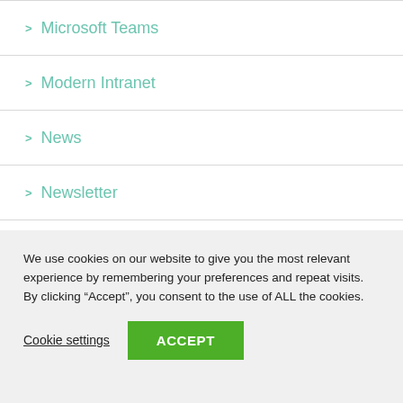> Microsoft Teams
> Modern Intranet
> News
> Newsletter
> Nintex
We use cookies on our website to give you the most relevant experience by remembering your preferences and repeat visits. By clicking “Accept”, you consent to the use of ALL the cookies.
Cookie settings   ACCEPT